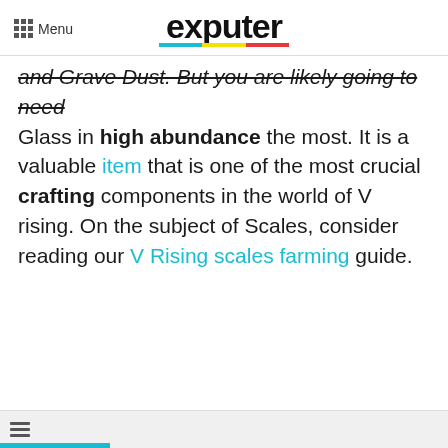Menu | exputer
and Grave Dust. But you are likely going to need Glass in high abundance the most. It is a valuable item that is one of the most crucial crafting components in the world of V rising. On the subject of Scales, consider reading our V Rising scales farming guide.